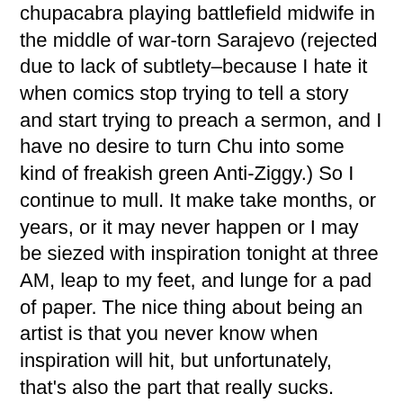chupacabra playing battlefield midwife in the middle of war-torn Sarajevo (rejected due to lack of subtlety–because I hate it when comics stop trying to tell a story and start trying to preach a sermon, and I have no desire to turn Chu into some kind of freakish green Anti-Ziggy.) So I continue to mull. It make take months, or years, or it may never happen or I may be siezed with inspiration tonight at three AM, leap to my feet, and lunge for a pad of paper. The nice thing about being an artist is that you never know when inspiration will hit, but unfortunately, that's also the part that really sucks.
In completely, totally, and utterly unrelated news, I tripped over this at VCL the other day, and after my rant about fat animals, (and because I love Anna's work) I couldn't resist sharing this little gem. Hopefully she won't mind...Check out the rest of her VCL gallery if you haven't ever done so, or I'll sic peeing vampire bats on you or something.
Peace!